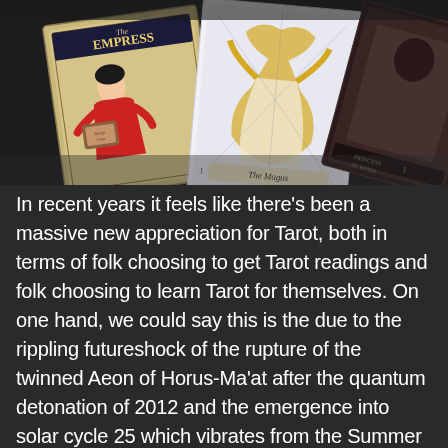[Figure (photo): Photograph of several Tarot cards spread out on a dark surface. Visible cards include 'The Empress' showing a retro-style woman in red, 'The Magus' with a mystical figure, and another partially visible card. The image has a dark, moody atmosphere.]
In recent years it feels like there's been a massive new appreciation for Tarot, both in terms of folk choosing to get Tarot readings and folk choosing to learn Tarot for themselves. On one hand, we could say this is the due to the rippling futureshock of the rupture of the twinned Aeon of Horus-Ma'at after the quantum detonation of 2012 and the emergence into solar cycle 25 which vibrates from the Summer of Love through to the morphically-resonant Gaian nightside waking-dreams of 16th-and-17th century court alchemists; on the other hand, we could say it's just because Tarot is extremely